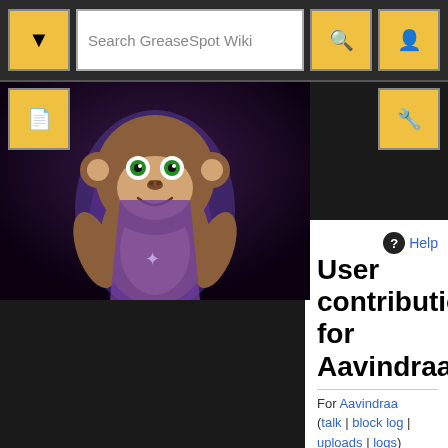Search GreaseSpot Wiki
[Figure (illustration): Cartoon monkey character wearing a cape, GreaseMonkey mascot, on dark purple background]
User contributions for Aavindraa
For Aavindraa (talk | block log | uploads | logs)
Search for contributions
(newest | oldest) View (newer 20 | older 20) (20 | 50 | 100 | 250 | 500)